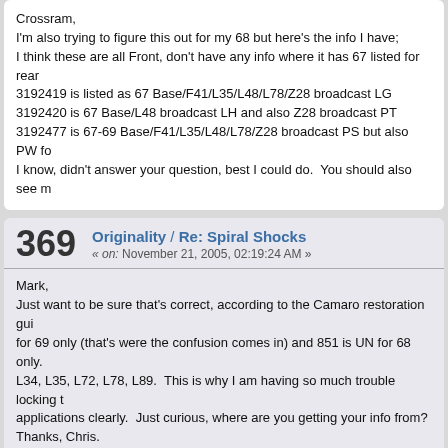Crossram,
I'm also trying to figure this out for my 68 but here's the info I have;
I think these are all Front, don't have any info where it has 67 listed for rear
3192419 is listed as 67 Base/F41/L35/L48/L78/Z28 broadcast LG
3192420 is 67 Base/L48 broadcast LH and also Z28 broadcast PT
3192477 is 67-69 Base/F41/L35/L48/L78/Z28 broadcast PS but also PW fo
I know, didn't answer your question, best I could do. You should also see m
369
Originality / Re: Spiral Shocks
« on: November 21, 2005, 02:19:24 AM »
Mark,
Just want to be sure that's correct, according to the Camaro restoration gui for 69 only (that's were the confusion comes in) and 851 is UN for 68 only. L34, L35, L72, L78, L89. This is why I am having so much trouble locking t applications clearly. Just curious, where are you getting your info from?
Thanks, Chris.
370
Restoration / Re: 68 Spoiler to valance screws
« on: November 20, 2005, 08:32:50 AM »
I posted here: